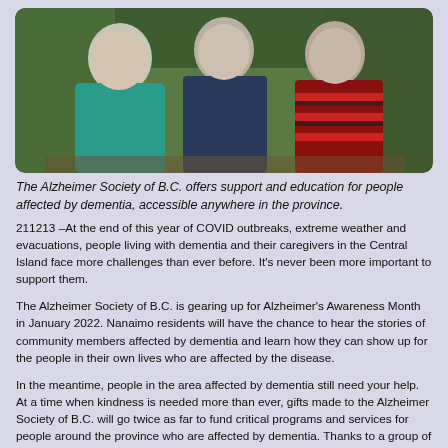[Figure (photo): Three people standing together outdoors with greenery in the background. Person on left wears a teal sweater, person in the middle wears a dark navy top, person on right wears a dark red and black striped sweater.]
The Alzheimer Society of B.C. offers support and education for people affected by dementia, accessible anywhere in the province.
211213 –At the end of this year of COVID outbreaks, extreme weather and evacuations, people living with dementia and their caregivers in the Central Island face more challenges than ever before. It's never been more important to support them.
The Alzheimer Society of B.C. is gearing up for Alzheimer's Awareness Month in January 2022. Nanaimo residents will have the chance to hear the stories of community members affected by dementia and learn how they can show up for the people in their own lives who are affected by the disease.
In the meantime, people in the area affected by dementia still need your help. At a time when kindness is needed more than ever, gifts made to the Alzheimer Society of B.C. will go twice as far to fund critical programs and services for people around the province who are affected by dementia. Thanks to a group of generous donors, every donation made up to December 31 will be matched up to $85,000.